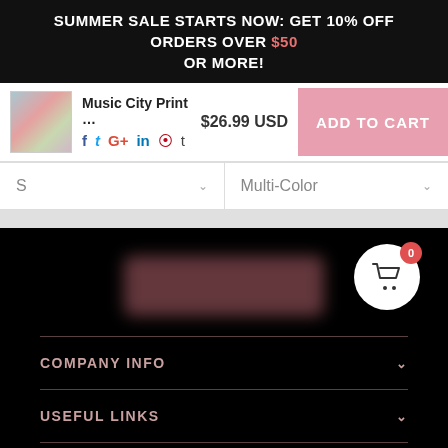SUMMER SALE STARTS NOW: GET 10% OFF ORDERS OVER $50 OR MORE!
Music City Print ... $26.99 USD | ADD TO CART
S | Multi-Color
[Figure (screenshot): Blurred promotional banner on black background with a shopping cart bubble showing 0 items]
COMPANY INFO
USEFUL LINKS
CONNECT